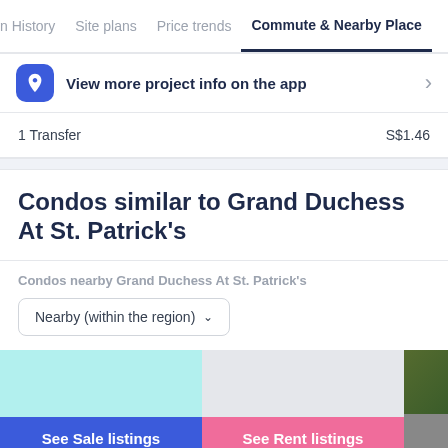n History  Site plans  Price trends  Commute & Nearby Place
View more project info on the app
1 Transfer   S$1.46
Condos similar to Grand Duchess At St. Patrick's
Condos nearby Grand Duchess At St. Patrick's
Nearby (within the region)
See Sale listings
See Rent listings